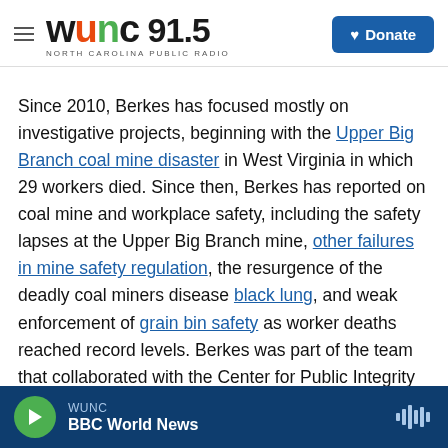WUNC 91.5 NORTH CAROLINA PUBLIC RADIO — Donate
Since 2010, Berkes has focused mostly on investigative projects, beginning with the Upper Big Branch coal mine disaster in West Virginia in which 29 workers died. Since then, Berkes has reported on coal mine and workplace safety, including the safety lapses at the Upper Big Branch mine, other failures in mine safety regulation, the resurgence of the deadly coal miners disease black lung, and weak enforcement of grain bin safety as worker deaths reached record levels. Berkes was part of the team that collaborated with the Center for Public Integrity in 2011 resulting in Poisoned Places, a series exploring weaknesses in air pollution regulation by states and EPA. In 2015 and 2016, Berkes collaborated with ProPublica on Insult to Injury, a series of stories about a "race to the bottom" in workers' compensation benefits across the country, which won the IRE Medal from Investigative
WUNC — BBC World News